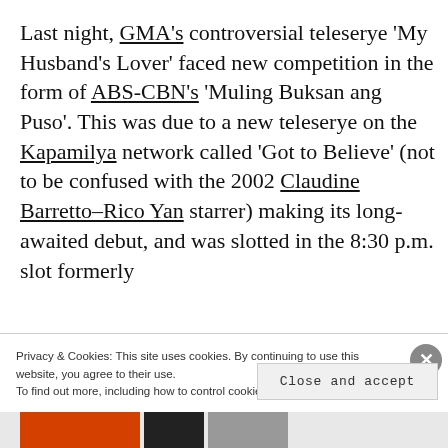Last night, GMA's controversial teleserye 'My Husband's Lover' faced new competition in the form of ABS-CBN's 'Muling Buksan ang Puso'. This was due to a new teleserye on the Kapamilya network called 'Got to Believe' (not to be confused with the 2002 Claudine Barretto–Rico Yan starrer) making its long-awaited debut, and was slotted in the 8:30 p.m. slot formerly
Privacy & Cookies: This site uses cookies. By continuing to use this website, you agree to their use.
To find out more, including how to control cookies, see here: Cookie Policy
Close and accept